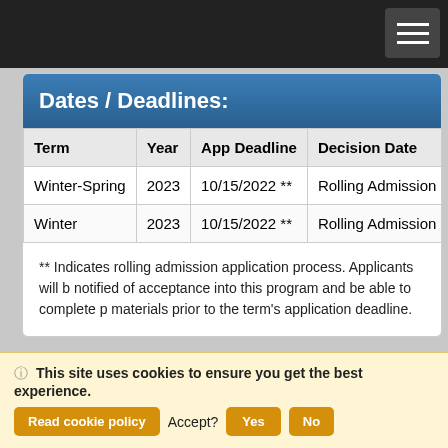Dates / Deadlines:
| Term | Year | App Deadline | Decision Date | Start Da |
| --- | --- | --- | --- | --- |
| Winter-Spring | 2023 | 10/15/2022 ** | Rolling Admission | 01/24/20 |
| Winter | 2023 | 10/15/2022 ** | Rolling Admission | TBA |
** Indicates rolling admission application process. Applicants will be notified of acceptance into this program and be able to complete pr materials prior to the term's application deadline.
Apply Now
Request Info
This site uses cookies to ensure you get the best experience.
Read cookie policy   Accept?   Yes   No